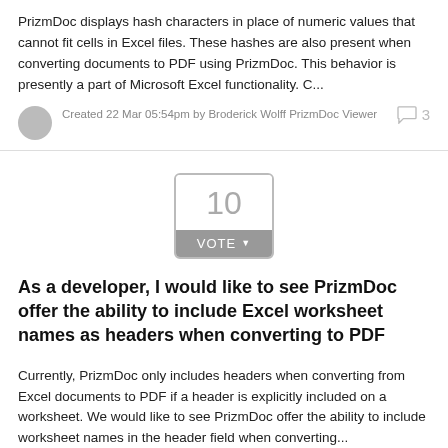PrizmDoc displays hash characters in place of numeric values that cannot fit cells in Excel files. These hashes are also present when converting documents to PDF using PrizmDoc. This behavior is presently a part of Microsoft Excel functionality. C...
Created 22 Mar 05:54pm by Broderick Wolff
PrizmDoc Viewer
3
[Figure (infographic): Vote widget showing the number 10 above a grey VOTE button with dropdown arrow]
As a developer, I would like to see PrizmDoc offer the ability to include Excel worksheet names as headers when converting to PDF
Currently, PrizmDoc only includes headers when converting from Excel documents to PDF if a header is explicitly included on a worksheet. We would like to see PrizmDoc offer the ability to include worksheet names in the header field when converting...
Created 19 Mar 08:56pm by Broderick Wolff
PrizmDoc Viewer
0